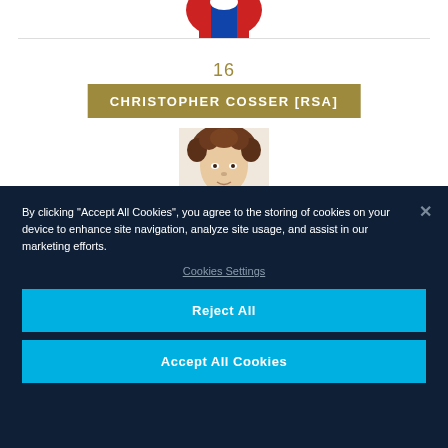[Figure (photo): Top portion of a sports jersey (red and blue), cropped at top]
16
CHRISTOPHER COSSER [RSA]
[Figure (photo): Player headshot of Christopher Cosser with curly hair, partially visible]
By clicking “Accept All Cookies”, you agree to the storing of cookies on your device to enhance site navigation, analyze site usage, and assist in our marketing efforts.
Cookies Settings
Reject All
Accept All Cookies